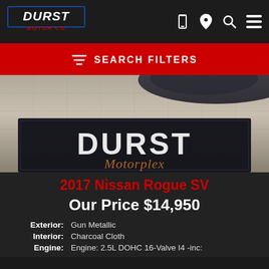Durst Motor Co — Navigation bar with logo, phone, location, search, and menu icons
SEARCH FILTERS
[Figure (photo): Photo of a Durst Motorplex branded floor mat in a dealership showroom, with a Nissan vehicle partially visible in the upper portion.]
2017 Nissan Rogue SV
Our Price $14,950
| Label | Value |
| --- | --- |
| Exterior: | Gun Metallic |
| Interior: | Charcoal Cloth |
| Engine: | Engine: 2.5L DOHC 16-Valve I4 -inc: |